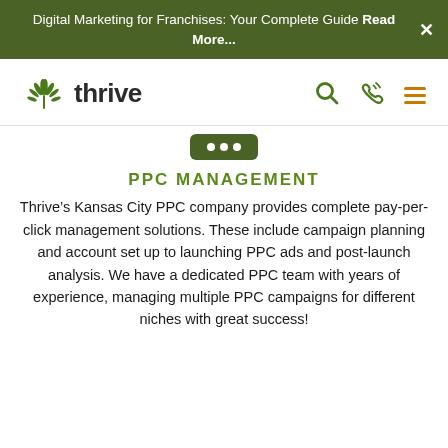Digital Marketing for Franchises: Your Complete Guide Read More...
[Figure (logo): Thrive Internet Marketing Agency logo with green leaf/plant icon and the word 'thrive' in bold dark text]
[Figure (other): Navigation icons: search magnifying glass, phone/call icon, and hamburger menu icon in green and amber/orange colors]
[Figure (other): Small green rounded button with three white dots]
PPC MANAGEMENT
Thrive’s Kansas City PPC company provides complete pay-per-click management solutions. These include campaign planning and account set up to launching PPC ads and post-launch analysis. We have a dedicated PPC team with years of experience, managing multiple PPC campaigns for different niches with great success!